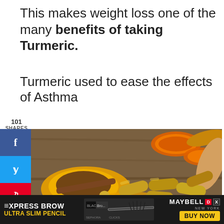This makes weight loss one of the many benefits of taking Turmeric.
Turmeric used to ease the effects of Asthma
101 SHARES
[Figure (photo): Photo of turmeric root slices, turmeric powder in a wooden spoon, and yellow capsules/supplements scattered on a wooden surface]
[Figure (infographic): Maybelline XPRESS BROW ULTRA SLIM PENCIL advertisement banner with mascara product image and BUY NOW button]